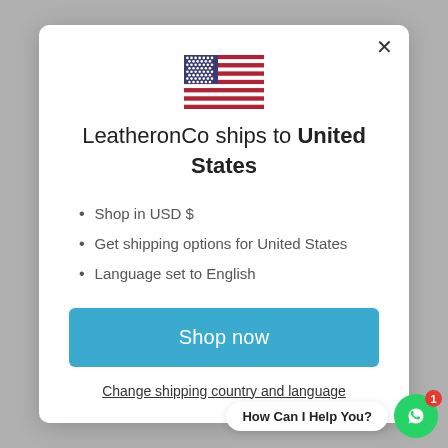[Figure (illustration): US flag emoji/image centered in the modal]
LeatheronCo ships to United States
Shop in USD $
Get shipping options for United States
Language set to English
Shop now
Change shipping country and language
How Can I Help You?